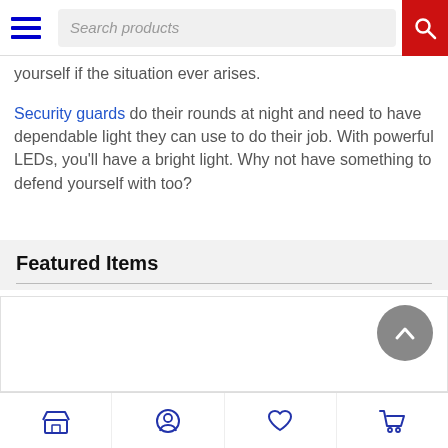Search products
yourself if the situation ever arises.
Security guards do their rounds at night and need to have dependable light they can use to do their job. With powerful LEDs, you'll have a bright light. Why not have something to defend yourself with too?
Featured Items
[Figure (screenshot): Featured items carousel with scroll-up button, showing product thumbnails area]
Mini Badass   Shorty   Lightning Rod
Bottom navigation bar with store, profile, wishlist, and cart icons